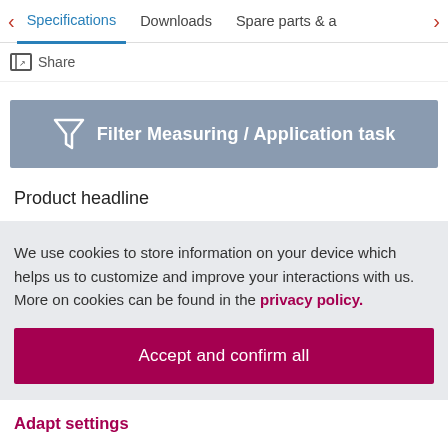< Specifications   Downloads   Spare parts & a >
Share
[Figure (other): Filter Measuring / Application task button with funnel icon]
Product headline
We use cookies to store information on your device which helps us to customize and improve your interactions with us. More on cookies can be found in the privacy policy.
Accept and confirm all
Adapt settings